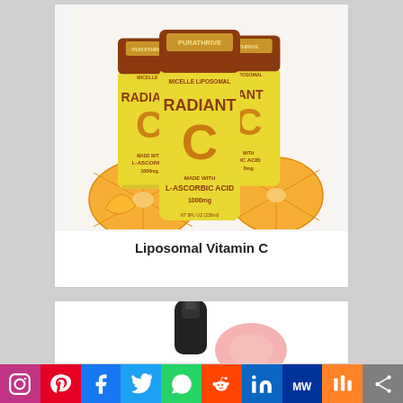[Figure (photo): Three cans of PuraThrive Micelle Liposomal Radiant C vitamin C supplement drink with L-Ascorbic Acid 1000mg, surrounded by orange slices, on a white background.]
Liposomal Vitamin C
[Figure (photo): Partial view of a black pump bottle and a pink/rose product, cropped at bottom of card.]
[Figure (infographic): Social media sharing bar with icons: Instagram, Pinterest, Facebook, Twitter, WhatsApp, Reddit, LinkedIn, MeWe, Mix, More.]